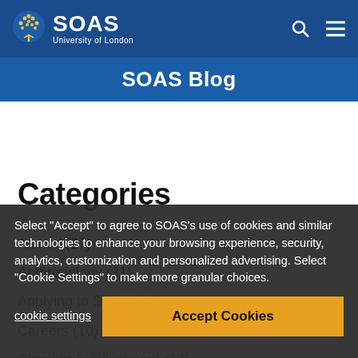SOAS University of London
SOAS Blog
Categories
Alumni (27)
Anthropology (31)
Applying to SOAS (16)
Careers (10)
Clearing & Adjustment (17)
Climate Change (23)
Covid-19 (42)
Development Studies (107)
Diplomacy (22)
Select "Accept" to agree to SOAS's use of cookies and similar technologies to enhance your browsing experience, security, analytics, customization and personalized advertising. Select "Cookie Settings" to make more granular choices.
cookie settings
Accept Cookies